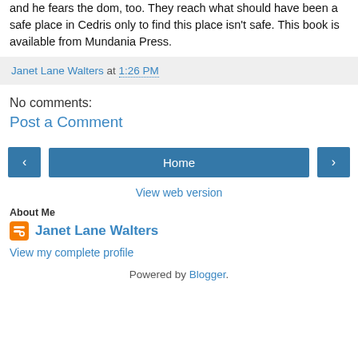and he fears the dom, too. They reach what should have been a safe place in Cedris only to find this place isn't safe. This book is available from Mundania Press.
Janet Lane Walters at 1:26 PM
No comments:
Post a Comment
Home
View web version
About Me
Janet Lane Walters
View my complete profile
Powered by Blogger.